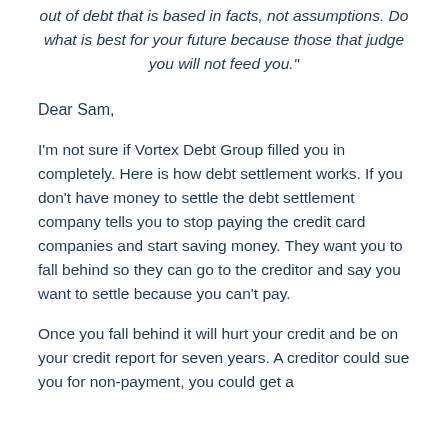out of debt that is based in facts, not assumptions. Do what is best for your future because those that judge you will not feed you."
Dear Sam,
I'm not sure if Vortex Debt Group filled you in completely. Here is how debt settlement works. If you don't have money to settle the debt settlement company tells you to stop paying the credit card companies and start saving money. They want you to fall behind so they can go to the creditor and say you want to settle because you can't pay.
Once you fall behind it will hurt your credit and be on your credit report for seven years. A creditor could sue you for non-payment, you could get a